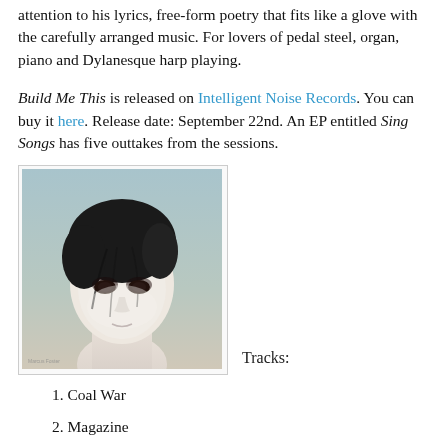attention to his lyrics, free-form poetry that fits like a glove with the carefully arranged music. For lovers of pedal steel, organ, piano and Dylanesque harp playing.
Build Me This is released on Intelligent Noise Records. You can buy it here. Release date: September 22nd. An EP entitled Sing Songs has five outtakes from the sessions.
[Figure (photo): Album cover photo: person with pale face paint, dark hair, looking at camera, against a muted blue-grey background.]
Tracks:
1. Coal War
2. Magazine
3. Weeds
4. Mother Mary
5. Black July
6. Annabelle